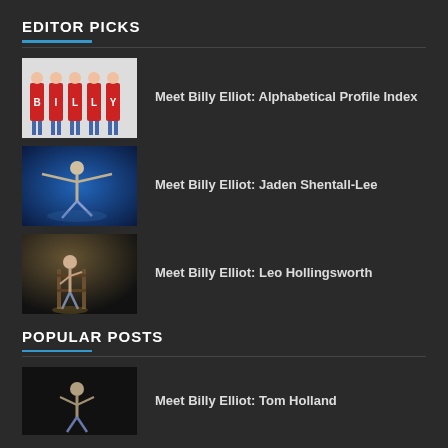EDITOR PICKS
Meet Billy Elliot: Alphabetical Profile Index
Meet Billy Elliot: Jaden Shentall-Lee
Meet Billy Elliot: Leo Hollingsworth
POPULAR POSTS
Meet Billy Elliot: Tom Holland